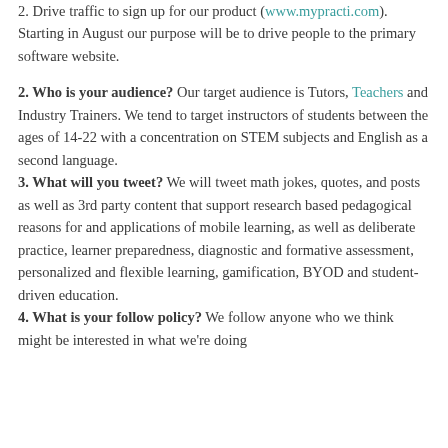2. Drive traffic to sign up for our product (www.mypracti.com). Starting in August our purpose will be to drive people to the primary software website.
2. Who is your audience? Our target audience is Tutors, Teachers and Industry Trainers. We tend to target instructors of students between the ages of 14-22 with a concentration on STEM subjects and English as a second language.
3. What will you tweet? We will tweet math jokes, quotes, and posts as well as 3rd party content that support research based pedagogical reasons for and applications of mobile learning, as well as deliberate practice, learner preparedness, diagnostic and formative assessment, personalized and flexible learning, gamification, BYOD and student-driven education.
4. What is your follow policy? We follow anyone who we think might be interested in what we're doing